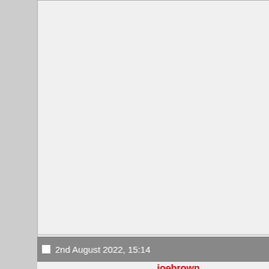November too!
More details can be found on the eve...
Not quite enough ant action for you?
We even heard they got some new b...
available through the event page: htt...
All these bots just a little small for ya...
(bbb.gd/bevs) tournament, bringing c...
to come!
Phew! Hopefully you lot all found so...
the future, we're always keen to hea...
And for lots of you scamps… we'll se...
BBB xo
Untitled drawing (1).jpg
2nd August 2022, 15:14
joebrown
[Figure (logo): Avatar image showing Cluster Duck & Crabsolutely Clawful logo with cartoon duck characters]
Just a bump for Subterranean Showc...
comp is full, but we'd love more antw...
boss fight table thing!
So if you're coming already please b...
antweight tickets are £5 to http://b...